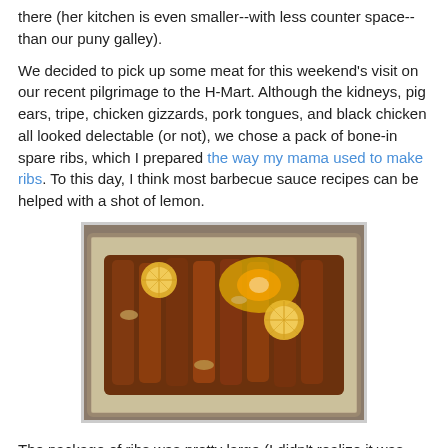there (her kitchen is even smaller--with less counter space--than our puny galley).
We decided to pick up some meat for this weekend's visit on our recent pilgrimage to the H-Mart. Although the kidneys, pig ears, tripe, chicken gizzards, pork tongues, and black chicken all looked delectable (or not), we chose a pack of bone-in spare ribs, which I prepared the way my mama used to make ribs. To this day, I think most barbecue sauce recipes can be helped with a shot of lemon.
[Figure (photo): Photo of barbecued spare ribs arranged in a foil-lined baking pan, garnished with sliced lemon rounds, showing dark caramelized meat with a glossy sauce.]
The package of ribs was pretty large (I didn't realize it was two layers deep) so in a smaller pan I made up a batch using